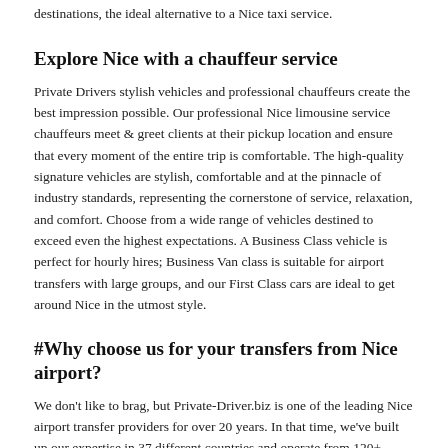destinations, the ideal alternative to a Nice taxi service.
Explore Nice with a chauffeur service
Private Drivers stylish vehicles and professional chauffeurs create the best impression possible. Our professional Nice limousine service chauffeurs meet & greet clients at their pickup location and ensure that every moment of the entire trip is comfortable. The high-quality signature vehicles are stylish, comfortable and at the pinnacle of industry standards, representing the cornerstone of service, relaxation, and comfort. Choose from a wide range of vehicles destined to exceed even the highest expectations. A Business Class vehicle is perfect for hourly hires; Business Van class is suitable for airport transfers with large groups, and our First Class cars are ideal to get around Nice in the utmost style.
#Why choose us for your transfers from Nice airport?
We don't like to brag, but Private-Driver.biz is one of the leading Nice airport transfer providers for over 20 years. In that time, we've built up our expertise in 37 different countries and operate from 120+ different airports around the world... but one thing always remains the same: time after time